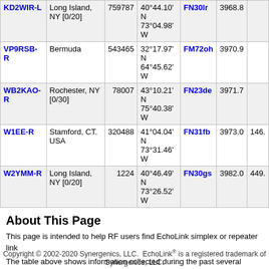| Callsign | Location | Node | Coordinates | Grid | Freq |
| --- | --- | --- | --- | --- | --- |
| KD2WIR-L | Long Island, NY [0/20] | 759787 | 40°44.10' N 73°04.98' W | FN30lr | 3968.8 |
| VP9RSB-R | Bermuda | 543465 | 32°17.97' N 64°45.62' W | FM72oh | 3970.9 |
| WB2KAO-R | Rochester, NY [0/30] | 78007 | 43°10.21' N 75°40.38' W | FN23de | 3971.7 |
| W1EE-R | Stamford, CT. USA | 320488 | 41°04.04' N 73°31.46' W | FN31fb | 3973.0 146. |
| W2YMM-R | Long Island, NY [0/20] | 1224 | 40°46.49' N 73°26.52' W | FN30gs | 3982.0 449. |
About This Page
This page is intended to help RF users find EchoLink simplex or repeater link
The table above shows information collected during the past several minutes suffix). The only stations shown are those which have entered location inform of active links can be viewed here.
Simplex links (-L) show the location, frequency, and antenna information of th output frequency, and antenna information of the repeater it serves. The valu approximate.
Copyright © 2002-2020 Synergenics, LLC.  EchoLink® is a registered trademark of Synergenics, LLC.